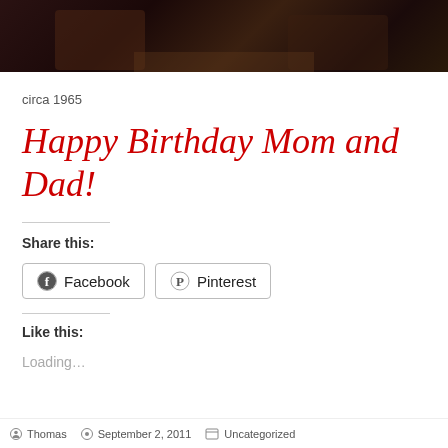[Figure (photo): Dark photo strip showing partial view of people, circa 1965, with dark/reddish tones]
circa 1965
Happy Birthday Mom and Dad!
Share this:
Facebook  Pinterest
Like this:
Loading…
Thomas  September 2, 2011  Uncategorized